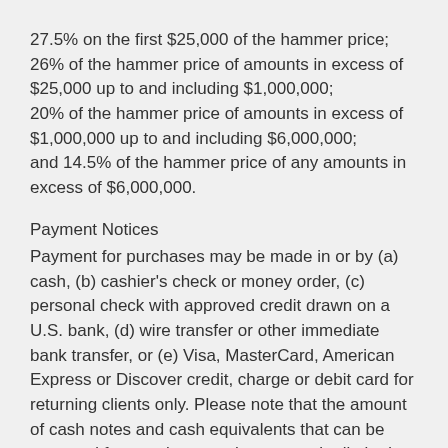27.5% on the first $25,000 of the hammer price; 26% of the hammer price of amounts in excess of $25,000 up to and including $1,000,000; 20% of the hammer price of amounts in excess of $1,000,000 up to and including $6,000,000; and 14.5% of the hammer price of any amounts in excess of $6,000,000.
Payment Notices
Payment for purchases may be made in or by (a) cash, (b) cashier's check or money order, (c) personal check with approved credit drawn on a U.S. bank, (d) wire transfer or other immediate bank transfer, or (e) Visa, MasterCard, American Express or Discover credit, charge or debit card for returning clients only. Please note that the amount of cash notes and cash equivalents that can be accepted from a given purchaser may be limited.
Shipping Notices